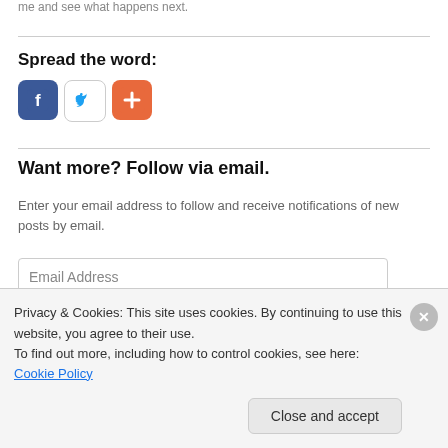me and see what happens next.
Spread the word:
[Figure (illustration): Social sharing icons: Facebook (blue), Twitter (white with bird), and a red/orange add/plus icon]
Want more? Follow via email.
Enter your email address to follow and receive notifications of new posts by email.
Email Address
Privacy & Cookies: This site uses cookies. By continuing to use this website, you agree to their use.
To find out more, including how to control cookies, see here: Cookie Policy
Close and accept